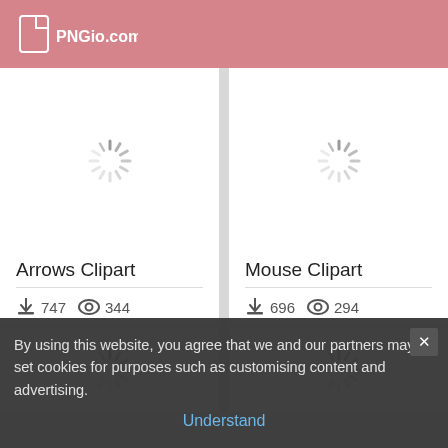PNGio.com
[Figure (screenshot): Loading spinner placeholder for Arrows Clipart image]
Arrows Clipart
747 downloads, 344 views
[Figure (screenshot): Loading spinner placeholder for Mouse Clipart image]
Mouse Clipart
696 downloads, 294 views
[Figure (screenshot): Loading spinner placeholder for bottom-left card]
[Figure (screenshot): Loading spinner placeholder for bottom-right card]
By using this website, you agree that we and our partners may set cookies for purposes such as customising content and advertising.
Understand